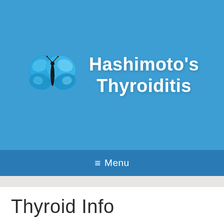[Figure (illustration): Website header with a blue butterfly logo and white text reading Hashimoto's Thyroiditis on a sky blue background]
≡ Menu
Thyroid Info